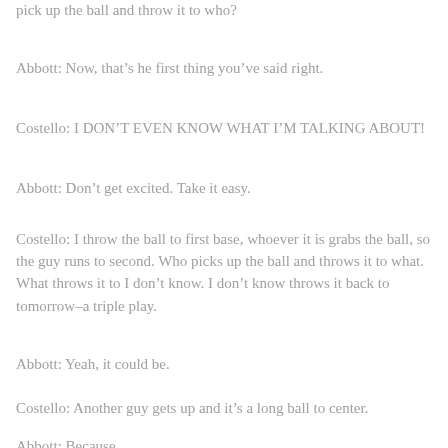pick up the ball and throw it to who?
Abbott: Now, that’s he first thing you’ve said right.
Costello: I DON’T EVEN KNOW WHAT I’M TALKING ABOUT!
Abbott: Don’t get excited. Take it easy.
Costello: I throw the ball to first base, whoever it is grabs the ball, so the guy runs to second. Who picks up the ball and throws it to what. What throws it to I don’t know. I don’t know throws it back to tomorrow–a triple play.
Abbott: Yeah, it could be.
Costello: Another guy gets up and it’s a long ball to center.
Abbott: Because.